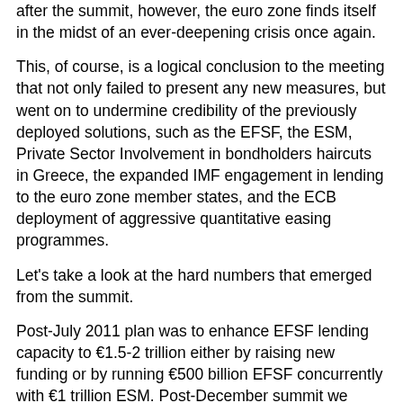after the summit, however, the euro zone finds itself in the midst of an ever-deepening crisis once again.
This, of course, is a logical conclusion to the meeting that not only failed to present any new measures, but went on to undermine credibility of the previously deployed solutions, such as the EFSF, the ESM, Private Sector Involvement in bondholders haircuts in Greece, the expanded IMF engagement in lending to the euro zone member states, and the ECB deployment of aggressive quantitative easing programmes.
Let's take a look at the hard numbers that emerged from the summit.
Post-July 2011 plan was to enhance EFSF lending capacity to €1.5-2 trillion either by raising new funding or by running €500 billion EFSF concurrently with €1 trillion ESM. Post-December summit we have: no increase in EFSF, no concurrent schemes and a vague promise of a €1 trillion target for ESM. This means that the effective lending capacity of the long-term funds in euro zone will be less than